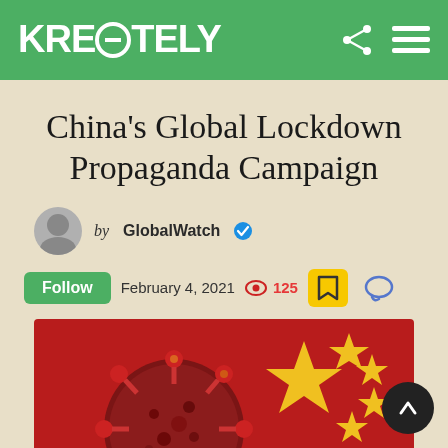KREΩTELY
China's Global Lockdown Propaganda Campaign
by GlobalWatch
Follow   February 4, 2021   125
[Figure (photo): Coronavirus particle (red spiky sphere) in foreground with Chinese flag (red with yellow stars) in background]